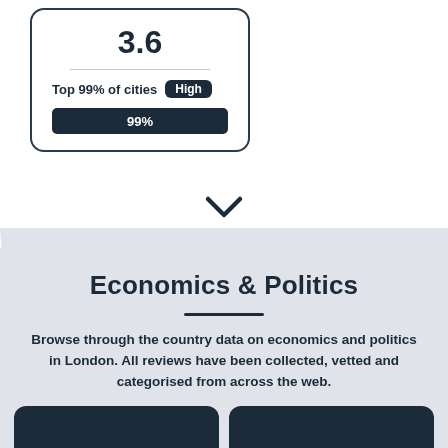[Figure (infographic): Score card showing 3.6, Top 99% of cities with High badge, and a 99% progress bar]
[Figure (other): Chevron down arrow icon]
Economics & Politics
Browse through the country data on economics and politics in London. All reviews have been collected, vetted and categorised from across the web.
Economics